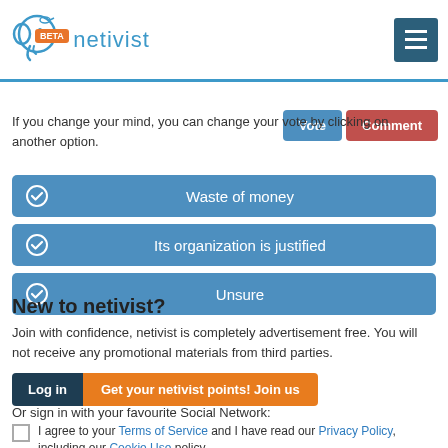netivist BETA
If you change your mind, you can change your vote by clicking on another option.
Waste of money
Its organization is justified
Unsure
New to netivist?
Join with confidence, netivist is completely advertisement free. You will not receive any promotional materials from third parties.
Log in   Get your netivist points! Join us
Or sign in with your favourite Social Network:
I agree to your Terms of Service and I have read our Privacy Policy, including our Cookie Use policy.